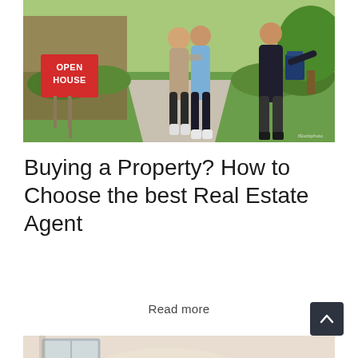[Figure (photo): Photo of a real estate open house scene: a couple standing in front of a house with a red 'OPEN HOUSE' sign, and a real estate agent in a dark suit gesturing toward the property. Green trees and lawn visible in background.]
Buying a Property? How to Choose the best Real Estate Agent
Read more
[Figure (photo): Partial photo of a bright interior room with large windows, beige/cream walls and warm light coming through.]